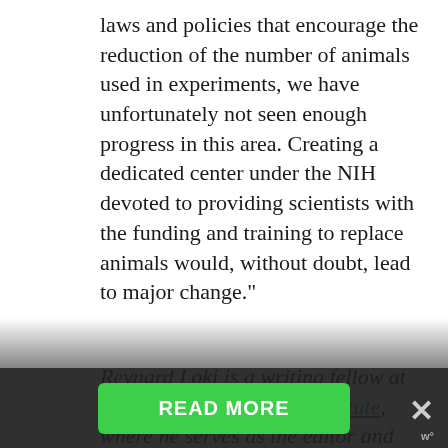laws and policies that encourage the reduction of the number of animals used in experiments, we have unfortunately not seen enough progress in this area. Creating a dedicated center under the NIH devoted to providing scientists with the funding and training to replace animals would, without doubt, lead to major change."
Reynard Loki is a writing fellow at the Independent Media Institute, where he serves as the editor and chief correspondent for Earth | Food | Life. He previously served as the environment, food and animal rights editor at AlterNet and as a reporter for Justmeans/3BL Media covering sustainability and corporate social re[sponsibility, and one of FilterBuy... environmental
READ MORE